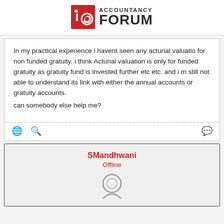ACCOUNTANCY FORUM
In my practical experience i havent seen any acturial valuatio for non funded gratuity. i think Acturial valuation is only for funded gratuity as gratuity fund is invested further etc etc. and i m still not able to understand its link with either the annual accounts or gratuity accounts.
can somebody else help me?
SMandhwani
Offline